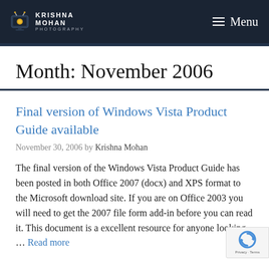Krishna Mohan Photography — Menu
Month: November 2006
Final version of Windows Vista Product Guide available
November 30, 2006 by Krishna Mohan
The final version of the Windows Vista Product Guide has been posted in both Office 2007 (docx) and XPS format to the Microsoft download site. If you are on Office 2003 you will need to get the 2007 file form add-in before you can read it. This document is a excellent resource for anyone looking … Read more